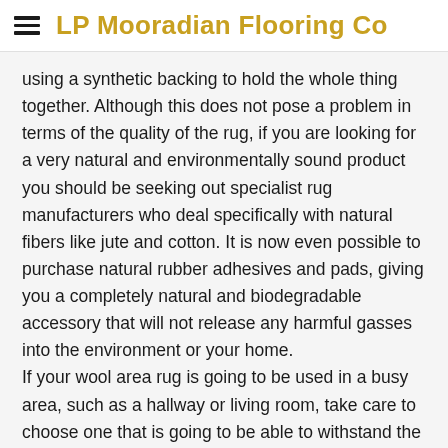LP Mooradian Flooring Co
using a synthetic backing to hold the whole thing together. Although this does not pose a problem in terms of the quality of the rug, if you are looking for a very natural and environmentally sound product you should be seeking out specialist rug manufacturers who deal specifically with natural fibers like jute and cotton. It is now even possible to purchase natural rubber adhesives and pads, giving you a completely natural and biodegradable accessory that will not release any harmful gasses into the environment or your home. If your wool area rug is going to be used in a busy area, such as a hallway or living room, take care to choose one that is going to be able to withstand the test of time. Although wool is known for its toughness, some applications, particularly those used to manufacture